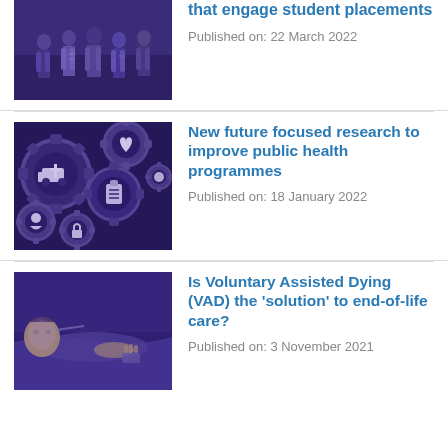[Figure (photo): Group of people standing in a room with purple/blue tint overlay, medical/educational context]
that engage student placements
Published on: 22 March 2022
[Figure (photo): Gears with medical/health icons (ambulance, heart, clipboard, person) with purple/blue tint overlay]
New future focused research to improve public health programmes
Published on: 18 January 2022
[Figure (photo): Person lying in a hospital bed with purple/blue tint overlay, end-of-life care context]
Is Voluntary Assisted Dying (VAD) the ‘solution’ to end-of-life care?
Published on: 3 November 2021